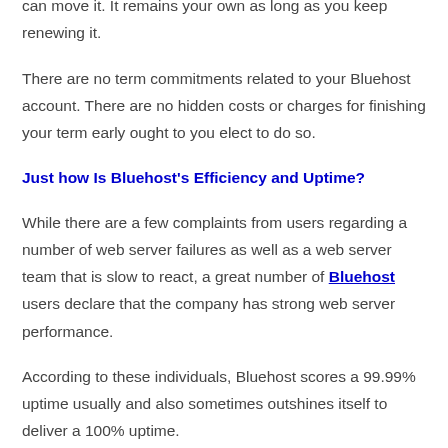still have the domain as well as have the ability to do with it as you please. After the necessary lockdown period, you can move it. It remains your own as long as you keep renewing it.
There are no term commitments related to your Bluehost account. There are no hidden costs or charges for finishing your term early ought to you elect to do so.
Just how Is Bluehost's Efficiency and Uptime?
While there are a few complaints from users regarding a number of web server failures as well as a web server team that is slow to react, a great number of Bluehost users declare that the company has strong web server performance.
According to these individuals, Bluehost scores a 99.99% uptime usually and also sometimes outshines itself to deliver a 100% uptime.